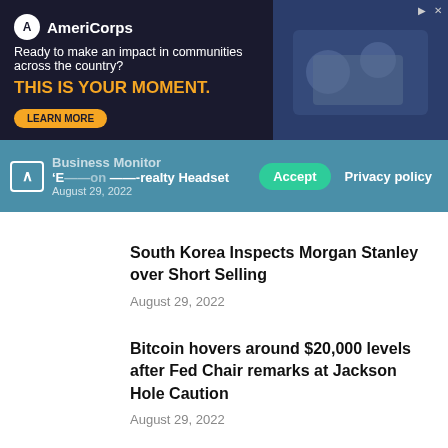[Figure (illustration): AmeriCorps advertisement banner with dark navy background, logo, tagline 'Ready to make an impact in communities across the country?', bold orange text 'THIS IS YOUR MOMENT.', a LEARN MORE button, and a photo of people on the right side.]
[Figure (screenshot): Cookie consent bar with teal/blue background, up arrow button, partially visible headline '-realty Headset' dated August 29, 2022, green Accept button and Privacy policy button.]
South Korea Inspects Morgan Stanley over Short Selling
August 29, 2022
Bitcoin hovers around $20,000 levels after Fed Chair remarks at Jackson Hole Caution
August 29, 2022
How to Build and Improve a Strong Credit Score?
August 29, 2022